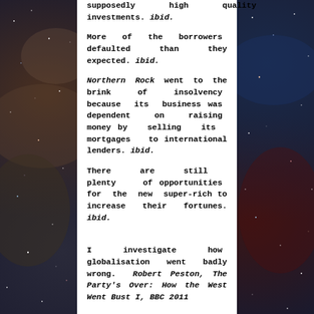supposedly high quality investments. ibid.
More of the borrowers defaulted than they expected. ibid.
Northern Rock went to the brink of insolvency because its business was dependent on raising money by selling its mortgages to international lenders. ibid.
There are still plenty of opportunities for the new super-rich to increase their fortunes. ibid.
I investigate how globalisation went badly wrong. Robert Peston, The Party's Over: How the West Went Bust I, BBC 2011
On the other...